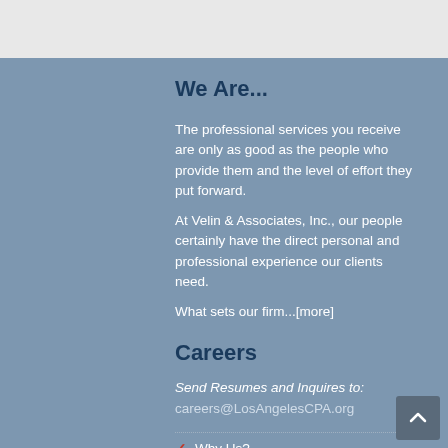We Are...
The professional services you receive are only as good as the people who provide them and the level of effort they put forward.
At Velin & Associates, Inc., our people certainly have the direct personal and professional experience our clients need.
What sets our firm...[more]
Careers
Send Resumes and Inquires to:
careers@LosAngelesCPA.org
Why Us?
FAQ